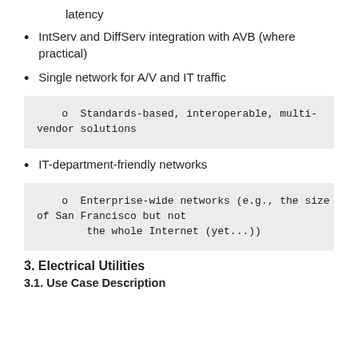latency
IntServ and DiffServ integration with AVB (where practical)
Single network for A/V and IT traffic
o  Standards-based, interoperable, multi-vendor solutions
IT-department-friendly networks
o  Enterprise-wide networks (e.g., the size of San Francisco but not
        the whole Internet (yet...))
3. Electrical Utilities
3.1. Use Case Description